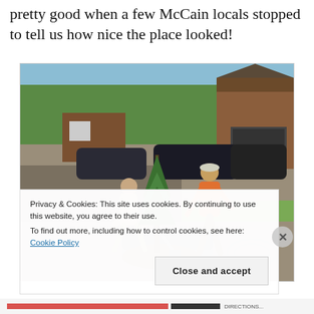pretty good when a few McCain locals stopped to tell us how nice the place looked!
[Figure (photo): Two workers planting a small conifer tree in front of a residential property. One worker in khaki clothes bends over shoveling dirt, another in an orange shirt stands nearby. A wheelbarrow is in the foreground. Cars and a wooden garage structure are visible in the background.]
Privacy & Cookies: This site uses cookies. By continuing to use this website, you agree to their use.
To find out more, including how to control cookies, see here: Cookie Policy
Close and accept